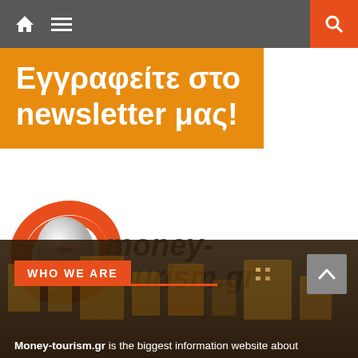Navigation bar with home icon, menu icon, and search button
[Figure (infographic): Orange banner with Greek text: Εγγραφείτε στο newsletter μας!]
[Figure (logo): money-tourism.gr logo with red swoosh and italic bold text]
[Figure (photo): Dark night cityscape background photo]
WHO WE ARE
Money-tourism.gr is the biggest information website about